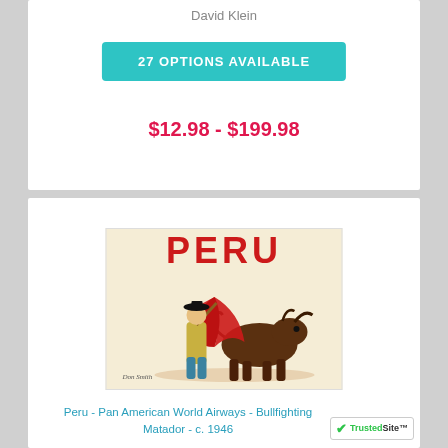David Klein
27 OPTIONS AVAILABLE
$12.98 - $199.98
[Figure (illustration): Vintage travel poster for Peru showing a matador bullfighting with a red cape, with bold red text PERU at top, circa 1946 Pan American World Airways poster]
Peru - Pan American World Airways - Bullfighting Matador - c. 1946